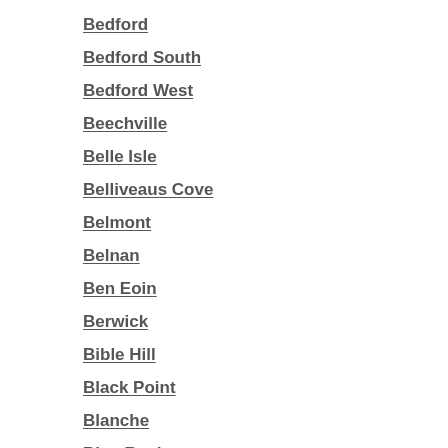Bedford
Bedford South
Bedford West
Beechville
Belle Isle
Belliveaus Cove
Belmont
Belnan
Ben Eoin
Berwick
Bible Hill
Black Point
Blanche
Blue Rocks
Boutiliers Point
Boylston